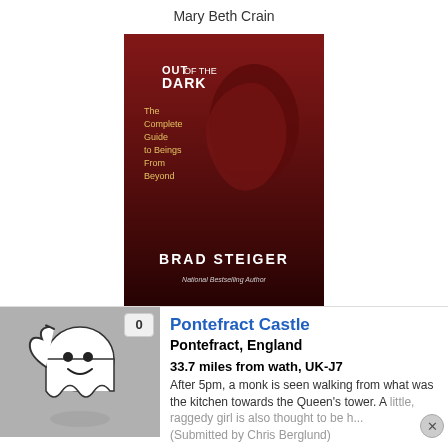Mary Beth Crain
[Figure (photo): Book cover: Out Of The Dark: The Complete Guide to Beings from Beyond by Brad Steiger. Dark red cover with shadowy figure, white and yellow text.]
Out Of The Dark: The Complete Guide to Beings from Beyond
Brad Steiger
[Figure (illustration): Ghost icon - white cartoon ghost with smiley face on grey background, with reflection below. Badge showing '0' in top right corner.]
Pontefract Castle
Pontefract, England
33.7 miles from wath, UK-J7
After 5pm, a monk is seen walking from what was the kitchen towards the Queen's tower. A little, raggedy girl is also thought to be h... (Submitted by Chris Berglund)